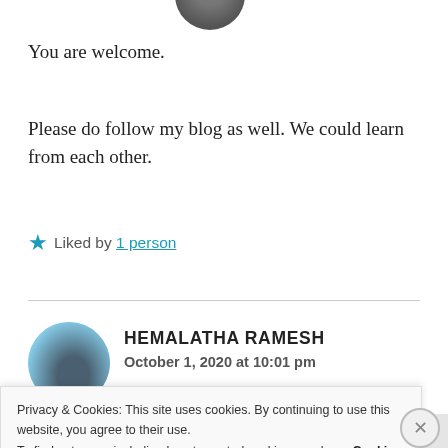[Figure (photo): Partial circular avatar photo at top center, cropped at the top edge of the page]
You are welcome.
Please do follow my blog as well. We could learn from each other.
★ Liked by 1 person
HEMALATHA RAMESH
October 1, 2020 at 10:01 pm
Privacy & Cookies: This site uses cookies. By continuing to use this website, you agree to their use.
To find out more, including how to control cookies, see here: Cookie Policy
Close and accept
Follow